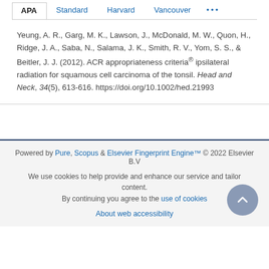APA  Standard  Harvard  Vancouver  ...
Yeung, A. R., Garg, M. K., Lawson, J., McDonald, M. W., Quon, H., Ridge, J. A., Saba, N., Salama, J. K., Smith, R. V., Yom, S. S., & Beitler, J. J. (2012). ACR appropriateness criteria® ipsilateral radiation for squamous cell carcinoma of the tonsil. Head and Neck, 34(5), 613-616. https://doi.org/10.1002/hed.21993
Powered by Pure, Scopus & Elsevier Fingerprint Engine™ © 2022 Elsevier B.V
We use cookies to help provide and enhance our service and tailor content. By continuing you agree to the use of cookies
About web accessibility